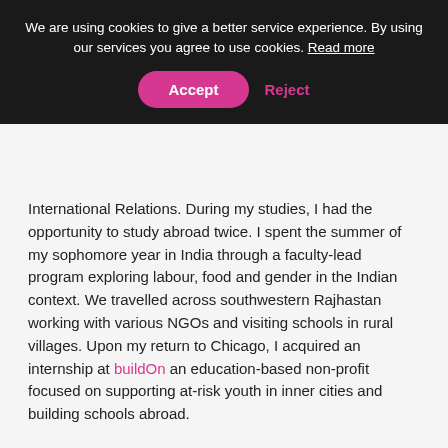We are using cookies to give a better service experience. By using our services you agree to use cookies. Read more
Accept | Reject
International Relations. During my studies, I had the opportunity to study abroad twice. I spent the summer of my sophomore year in India through a faculty-lead program exploring labour, food and gender in the Indian context. We travelled across southwestern Rajhastan working with various NGOs and visiting schools in rural villages. Upon my return to Chicago, I acquired an internship at buildOn an education-based non-profit focused on supporting at-risk youth in inner cities and building schools abroad.
In the spring of my junior year, I spent six months in Shanghai, China, at East China Normal University